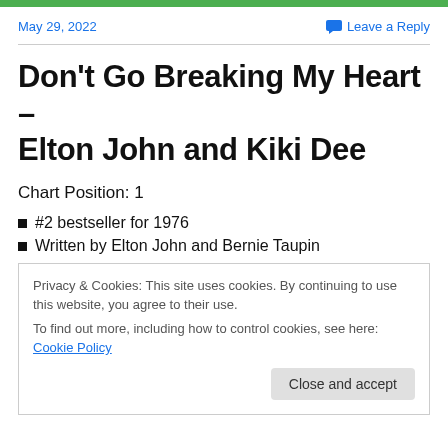May 29, 2022
Leave a Reply
Don't Go Breaking My Heart – Elton John and Kiki Dee
Chart Position: 1
#2 bestseller for 1976
Written by Elton John and Bernie Taupin
Privacy & Cookies: This site uses cookies. By continuing to use this website, you agree to their use.
To find out more, including how to control cookies, see here: Cookie Policy
Close and accept